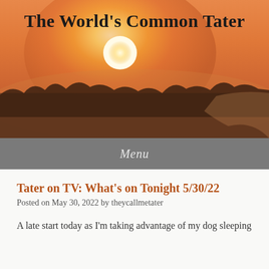[Figure (photo): Sunset or sunrise landscape photo with a bright glowing sun over a misty tree-covered horizon, warm orange and pink sky tones]
The World's Common Tater
Menu
Tater on TV: What's on Tonight 5/30/22
Posted on May 30, 2022 by theycallmetater
A late start today as I'm taking advantage of my dog sleeping